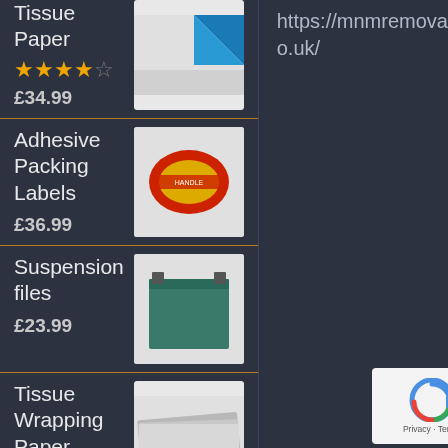Tissue Paper ★★★★☆ £34.99
[Figure (photo): Product image for Tissue Paper - blue/white packaging]
Adhesive Packing Labels £36.99
[Figure (photo): Product image for Adhesive Packing Labels - red roll of labels]
Suspension files £23.99
[Figure (photo): Product image for Suspension files - green hanging file]
Tissue Wrapping Paper £19.50
[Figure (photo): Product image for Tissue Wrapping Paper - grey/silver sheets]
https://mnmremovals.co.uk/
[Figure (logo): Google reCAPTCHA badge with Privacy and Terms text]